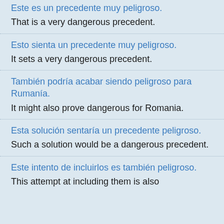Este es un precedente muy peligroso. / That is a very dangerous precedent.
Esto sienta un precedente muy peligroso. / It sets a very dangerous precedent.
También podría acabar siendo peligroso para Rumanía. / It might also prove dangerous for Romania.
Esta solución sentaría un precedente peligroso. / Such a solution would be a dangerous precedent.
Este intento de incluirlos es también peligroso. / This attempt at including them is also